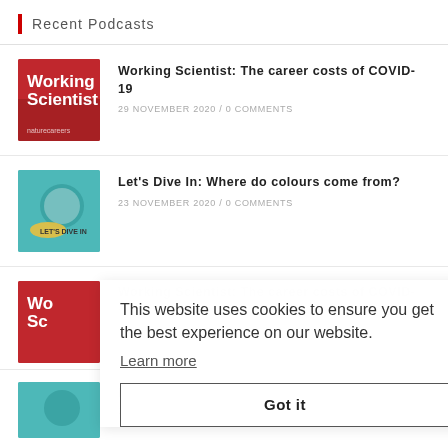Recent Podcasts
[Figure (illustration): Working Scientist podcast thumbnail - red background with white text]
Working Scientist: The career costs of COVID-19
29 NOVEMBER 2020 / 0 COMMENTS
[Figure (illustration): Let's Dive In podcast thumbnail - teal background with magnifying glass illustration]
Let's Dive In: Where do colours come from?
23 NOVEMBER 2020 / 0 COMMENTS
[Figure (illustration): Partial Working Scientist podcast thumbnail - red background]
This website uses cookies to ensure you get the best experience on our website.
Learn more
Got it
[Figure (illustration): Partial Let's Dive In podcast thumbnail - teal background]
Let's Dive In: Beat the pressure
16 NOVEMBER 2020 / 0 COMMENTS